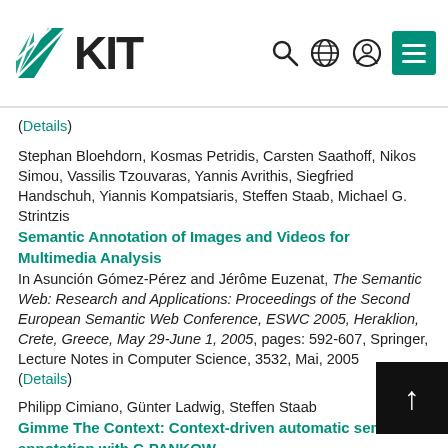KIT logo and navigation icons
(Details)
Stephan Bloehdorn, Kosmas Petridis, Carsten Saathoff, Nikos Simou, Vassilis Tzouvaras, Yannis Avrithis, Siegfried Handschuh, Yiannis Kompatsiaris, Steffen Staab, Michael G. Strintzis
Semantic Annotation of Images and Videos for Multimedia Analysis
In Asunción Gómez-Pérez and Jérôme Euzenat, The Semantic Web: Research and Applications: Proceedings of the Second European Semantic Web Conference, ESWC 2005, Heraklion, Crete, Greece, May 29-June 1, 2005, pages: 592-607, Springer, Lecture Notes in Computer Science, 3532, Mai, 2005
(Details)
Philipp Cimiano, Günter Ladwig, Steffen Staab
Gimme The Context: Context-driven automatic semantic annotation with C-PANKOW
In Allan Ellis, Tatsuya Hagino, Proceedings of the 14th World...